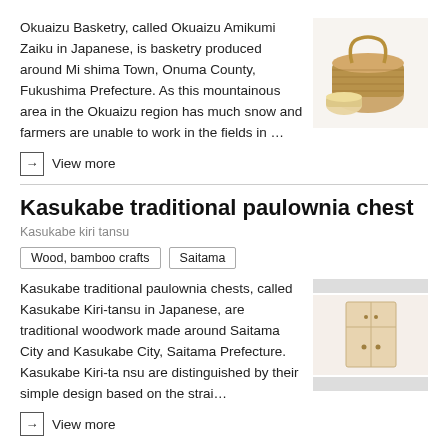Okuaizu Basketry, called Okuaizu Amikumi Zaiku in Japanese, is basketry produced around Mishima Town, Onuma County, Fukushima Prefecture. As this mountainous area in the Okuaizu region has much snow and farmers are unable to work in the fields in …
[Figure (photo): Photo of Okuaizu basketry — woven baskets and a small bowl]
→ View more
Kasukabe traditional paulownia chest
Kasukabe kiri tansu
Wood, bamboo crafts   Saitama
Kasukabe traditional paulownia chests, called Kasukabe Kiri-tansu in Japanese, are traditional woodwork made around Saitama City and Kasukabe City, Saitama Prefecture. Kasukabe Kiri-tansu are distinguished by their simple design based on the strai…
[Figure (photo): Photo of a Kasukabe traditional paulownia chest — a light wood cabinet]
→ View more